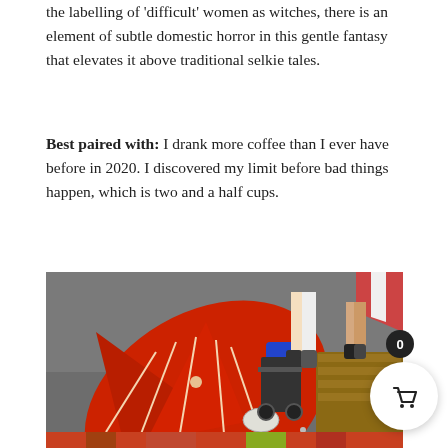the labelling of 'difficult' women as witches, there is an element of subtle domestic horror in this gentle fantasy that elevates it above traditional selkie tales.
Best paired with: I drank more coffee than I ever have before in 2020. I discovered my limit before bad things happen, which is two and a half cups.
[Figure (photo): A collapsed red umbrella lying on a street/pavement, with people's legs and a wooden structure visible in the background. A blue object and a circular container are also visible.]